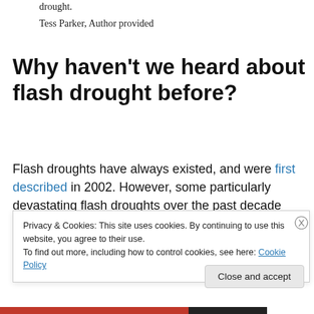drought.
Tess Parker, Author provided
Why haven't we heard about flash drought before?
Flash droughts have always existed, and were first described in 2002. However, some particularly devastating flash droughts over the past decade have led to a surge of interest among researchers.
Privacy & Cookies: This site uses cookies. By continuing to use this website, you agree to their use.
To find out more, including how to control cookies, see here: Cookie Policy
Close and accept